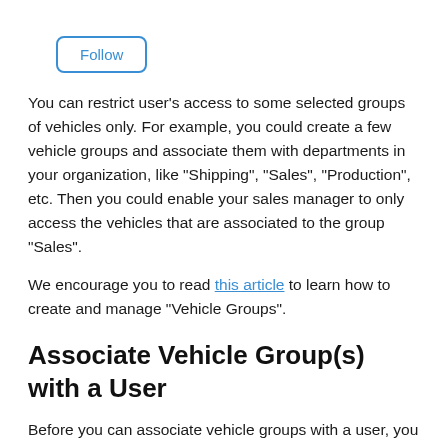[Figure (other): A 'Follow' button with blue border and blue text, rounded rectangle outline]
You can restrict user's access to some selected groups of vehicles only. For example, you could create a few vehicle groups and associate them with departments in your organization, like "Shipping", "Sales", "Production", etc. Then you could enable your sales manager to only access the vehicles that are associated to the group "Sales".
We encourage you to read this article to learn how to create and manage "Vehicle Groups".
Associate Vehicle Group(s) with a User
Before you can associate vehicle groups with a user, you have to make sure this user is configured so it can only